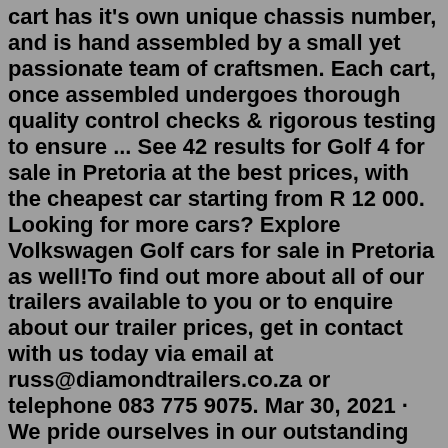cart has it's own unique chassis number, and is hand assembled by a small yet passionate team of craftsmen. Each cart, once assembled undergoes thorough quality control checks & rigorous testing to ensure ... See 42 results for Golf 4 for sale in Pretoria at the best prices, with the cheapest car starting from R 12 000. Looking for more cars? Explore Volkswagen Golf cars for sale in Pretoria as well!To find out more about all of our trailers available to you or to enquire about our trailer prices, get in contact with us today via email at russ@diamondtrailers.co.za or telephone 083 775 9075. Mar 30, 2021 · We pride ourselves in our outstanding workmanship and quality service. We are Open 24 hours per day, 7 days per week, 365 days per year for the exchanging and refilling of Gas cylinders.We provide a convenient delivery service to clients in Pretoria East, Centurion, Pretoria Central, Pretoria West and Moot areas. If you have any enquiries, please contact Ray directly through ...